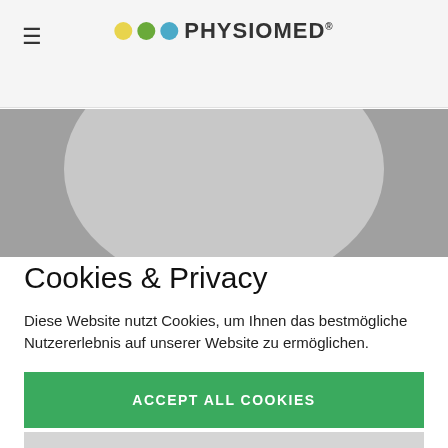☰  ●●● PHYSIOMED®
[Figure (photo): Grey banner with circular device/logo shape in lighter grey]
Cookies & Privacy
Diese Website nutzt Cookies, um Ihnen das bestmögliche Nutzererlebnis auf unserer Website zu ermöglichen.
ACCEPT ALL COOKIES
EDIT
Only accept necessary cookies
Datenschutzerklärung | Impressum